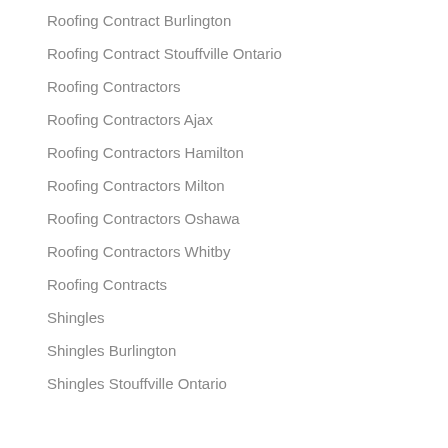Roofing Contract Burlington
Roofing Contract Stouffville Ontario
Roofing Contractors
Roofing Contractors Ajax
Roofing Contractors Hamilton
Roofing Contractors Milton
Roofing Contractors Oshawa
Roofing Contractors Whitby
Roofing Contracts
Shingles
Shingles Burlington
Shingles Stouffville Ontario